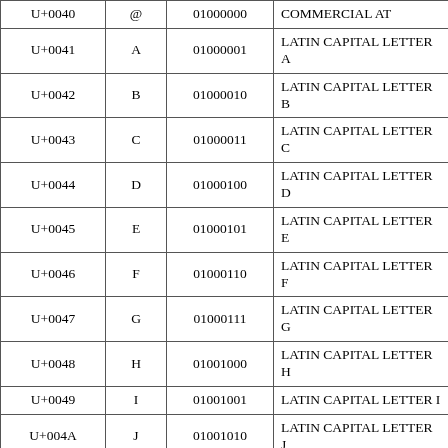| U+0040 | @ | 01000000 | COMMERCIAL AT |  |
| U+0041 | A | 01000001 | LATIN CAPITAL LETTER A |  |
| U+0042 | B | 01000010 | LATIN CAPITAL LETTER B |  |
| U+0043 | C | 01000011 | LATIN CAPITAL LETTER C |  |
| U+0044 | D | 01000100 | LATIN CAPITAL LETTER D |  |
| U+0045 | E | 01000101 | LATIN CAPITAL LETTER E |  |
| U+0046 | F | 01000110 | LATIN CAPITAL LETTER F |  |
| U+0047 | G | 01000111 | LATIN CAPITAL LETTER G |  |
| U+0048 | H | 01001000 | LATIN CAPITAL LETTER H |  |
| U+0049 | I | 01001001 | LATIN CAPITAL LETTER I |  |
| U+004A | J | 01001010 | LATIN CAPITAL LETTER J |  |
| U+004B | K | 01001011 | LATIN CAPITAL LETTER K |  |